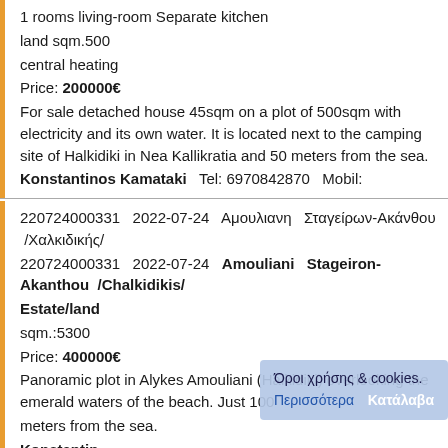1 rooms living-room Separate kitchen
land sqm.500
central heating
Price: 200000€
For sale detached house 45sqm on a plot of 500sqm with electricity and its own water. It is located next to the camping site of Halkidiki in Nea Kallikratia and 50 meters from the sea.
Konstantinos Kamataki   Tel: 6970842870   Mobil:
220724000331   2022-07-24   Αμουλιανη  Σταγείρων-Ακάνθου  /Χαλκιδικής/
220724000331   2022-07-24   Amouliani  Stageiron-Akanthou  /Chalkidikis/
Estate/land
sqm.:5300
Price: 400000€
Panoramic plot in Alykes Amouliani (Halkidiki) overlooking the emerald waters of the beach. Just 100 meters from the sea.
Konstantinos Kamataki
220707222237   2022-07-07   Καλλικράτεια